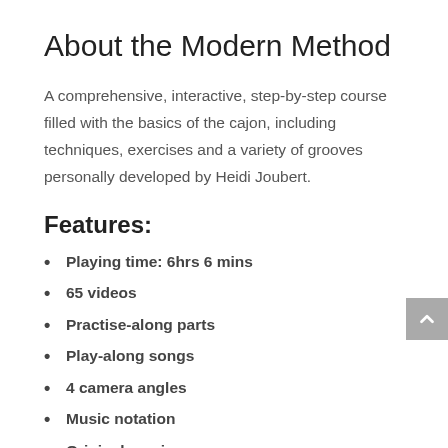About the Modern Method
A comprehensive, interactive, step-by-step course filled with the basics of the cajon, including techniques, exercises and a variety of grooves personally developed by Heidi Joubert.
Features:
Playing time: 6hrs 6 mins
65 videos
Practise-along parts
Play-along songs
4 camera angles
Music notation
Original music
HD Quality & professionally recorded audio